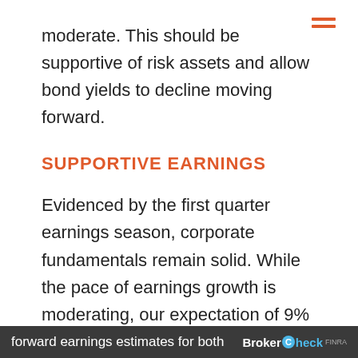moderate. This should be supportive of risk assets and allow bond yields to decline moving forward.
SUPPORTIVE EARNINGS
Evidenced by the first quarter earnings season, corporate fundamentals remain solid. While the pace of earnings growth is moderating, our expectation of 9% EPS growth in 2022 remains above the previous 20-year average of 8%. And although we have seen some giveback this week,
forward earnings estimates for both BrokerCheck FINRA